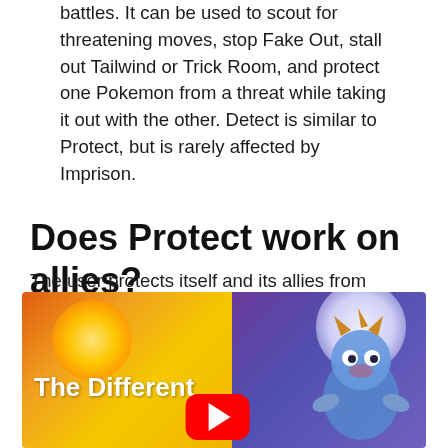Protect is arguably the best move in double battles. It can be used to scout for threatening moves, stop Fake Out, stall out Tailwind or Trick Room, and protect one Pokemon from a threat while taking it out with the other. Detect is similar to Protect, but is rarely affected by Imprison.
Does Protect work on allies?
The user protects itself and its allies from priority moves. If used in succession, its chance of failing rises.
[Figure (illustration): Thumbnail image split into two halves: left side has an orange-yellow gradient with a glowing orb and text 'The Different', with a YouTube play button in the center bottom; right side has a purple-blue gradient with a white glowing orb and a Pokemon character illustration.]